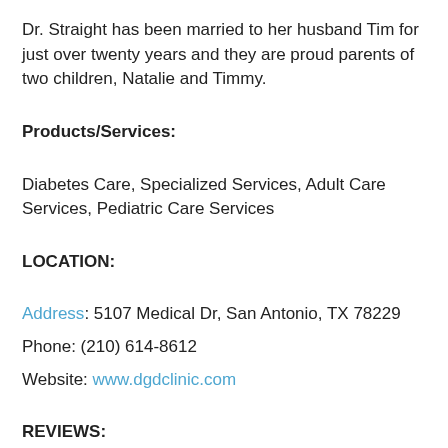Dr. Straight has been married to her husband Tim for just over twenty years and they are proud parents of two children, Natalie and Timmy.
Products/Services:
Diabetes Care, Specialized Services, Adult Care Services, Pediatric Care Services
LOCATION:
Address: 5107 Medical Dr, San Antonio, TX 78229
Phone: (210) 614-8612
Website: www.dgdclinic.com
REVIEWS:
“For several years now” From the Dot: the about the